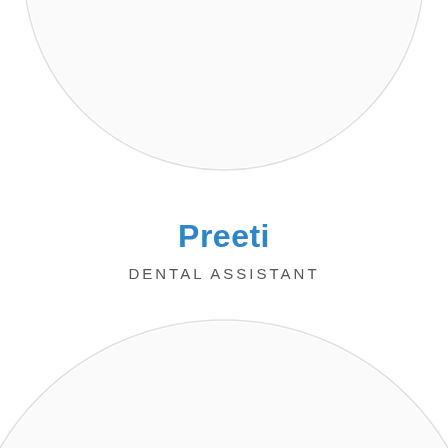[Figure (illustration): Decorative circular shapes: a large circle partially visible at the top center of the page, and a large circle partially visible at the bottom center of the page, both in light gray/white giving a soft UI design background effect.]
Preeti
DENTAL ASSISTANT